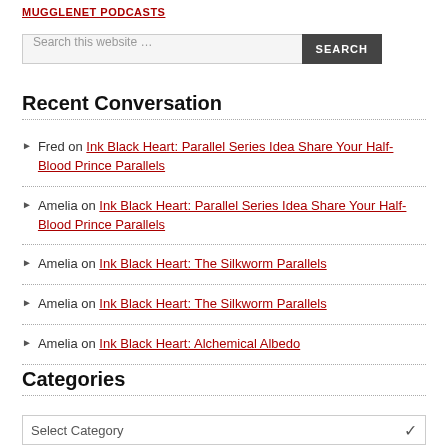MUGGLENET PODCASTS
Search this website …
Recent Conversation
Fred on Ink Black Heart: Parallel Series Idea Share Your Half-Blood Prince Parallels
Amelia on Ink Black Heart: Parallel Series Idea Share Your Half-Blood Prince Parallels
Amelia on Ink Black Heart: The Silkworm Parallels
Amelia on Ink Black Heart: The Silkworm Parallels
Amelia on Ink Black Heart: Alchemical Albedo
Categories
Select Category